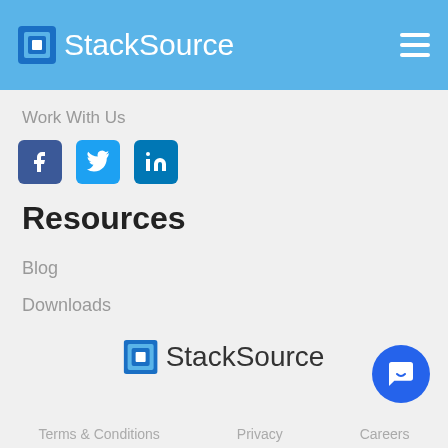StackSource
Work With Us
[Figure (logo): Facebook, Twitter, LinkedIn social media icons]
Resources
Blog
Downloads
[Figure (logo): StackSource logo centered]
Terms & Conditions   Privacy   Careers